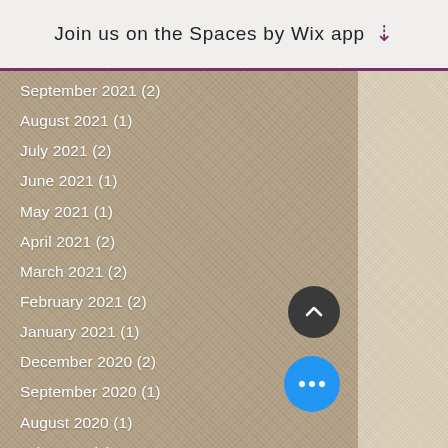Join us on the Spaces by Wix app ↓
September 2021 (2)
August 2021 (1)
July 2021 (2)
June 2021 (1)
May 2021 (1)
April 2021 (2)
March 2021 (2)
February 2021 (2)
January 2021 (1)
December 2020 (2)
September 2020 (1)
August 2020 (1)
July 2020 (1)
March 2020 (1)
February 2020 (1)
December 2019 (3)
November 2019 (1)
October 2019 (1)
September 2019 (3)